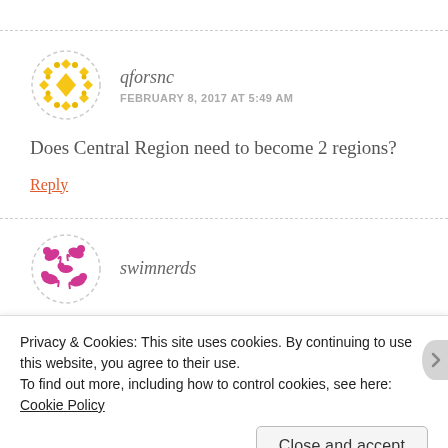[Figure (illustration): Avatar icon for user qforsnc: circular dashed border with yellow/gold diamond pattern on white background]
qforsnc
FEBRUARY 8, 2017 AT 5:49 AM
Does Central Region need to become 2 regions?
Reply
[Figure (illustration): Avatar icon for user swimnerds: circular image with pink/magenta fish or swimmer figures on white background]
swimnerds
Privacy & Cookies: This site uses cookies. By continuing to use this website, you agree to their use.
To find out more, including how to control cookies, see here: Cookie Policy
Close and accept